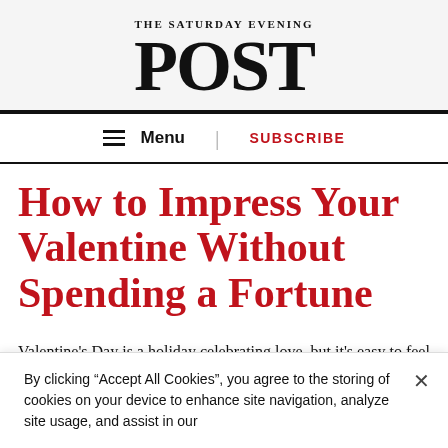THE SATURDAY EVENING POST
Menu | SUBSCRIBE
How to Impress Your Valentine Without Spending a Fortune
Valentine's Day is a holiday celebrating love, but it's easy to feel pressured to make reservations at a fancy
By clicking “Accept All Cookies”, you agree to the storing of cookies on your device to enhance site navigation, analyze site usage, and assist in our